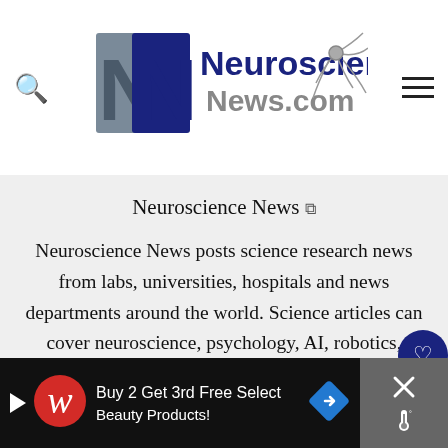Neuroscience News.com
Neuroscience News ↗
Neuroscience News posts science research news from labs, universities, hospitals and news departments around the world. Science articles can cover neuroscience, psychology, AI, robotics, neurology, brain cancer,
[Figure (infographic): Advertisement banner: Walgreens ad - Buy 2 Get 3rd Free Select Beauty Products!]